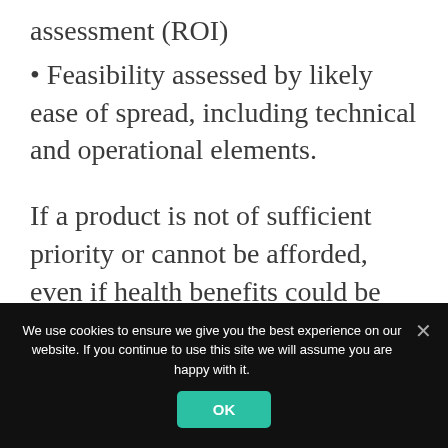assessment (ROI)
• Feasibility assessed by likely ease of spread, including technical and operational elements.
If a product is not of sufficient priority or cannot be afforded, even if health benefits could be gained, there is little or no point in undertaking a RWE. To do so is att sense of priorities. Other sense...
We use cookies to ensure we give you the best experience on our website. If you continue to use this site we will assume you are happy with it.